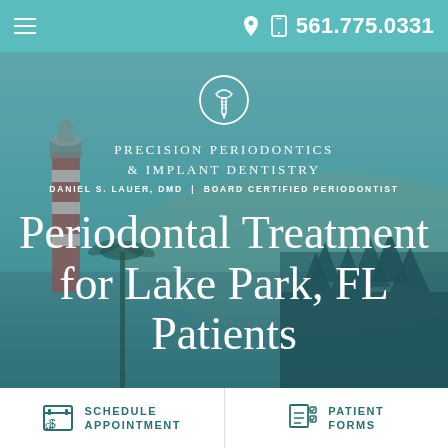561.775.0331
[Figure (logo): Precision Periodontics & Implant Dentistry logo with dental implant icon circle]
PRECISION PERIODONTICS & IMPLANT DENTISTRY
DANIEL S. LAUER, DMD | BOARD CERTIFIED PERIODONTIST
Periodontal Treatment for Lake Park, FL Patients
[Figure (photo): Background photo of lighthouse and palm trees with teal/blue color overlay]
SCHEDULE APPOINTMENT
PATIENT FORMS